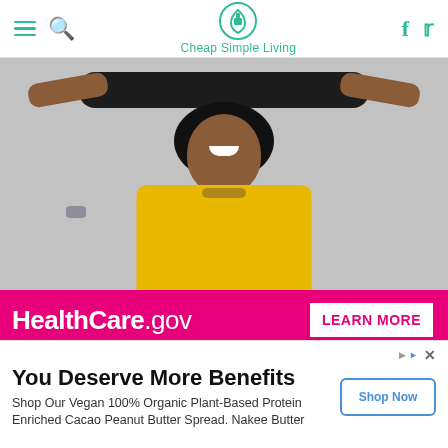Cheap Simple Living — navigation bar with hamburger menu, search, facebook, twitter icons
[Figure (photo): Woman holding a skateboard above her head, wearing a yellow t-shirt, smiling, with curly hair. Below the photo is a pink banner for HealthCare.gov with a LEARN MORE button.]
But if you're looking to purchase a course on Udemy, ng is everything. The right time to buy a course is
You Deserve More Benefits
Shop Our Vegan 100% Organic Plant-Based Protein Enriched Cacao Peanut Butter Spread. Nakee Butter